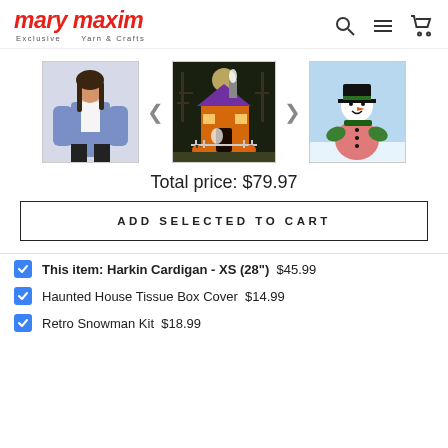mary maxim — Exclusive Yarn & Crafts
[Figure (photo): Three product images: woman wearing blue cardigan, Halloween haunted house tissue box cover, retro snowman kit]
Total price: $79.97
ADD SELECTED TO CART
This item: Harkin Cardigan - XS (28") $45.99
Haunted House Tissue Box Cover $14.99
Retro Snowman Kit $18.99